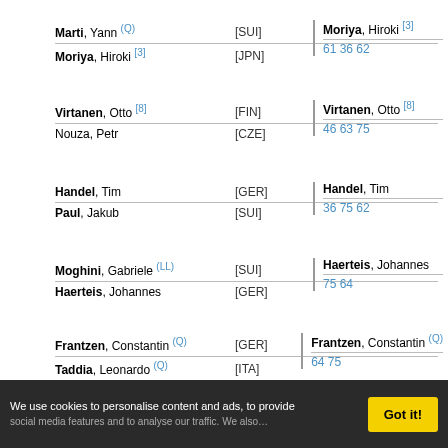| Marti, Yann (Q) [SUI] | Moriya, Hiroki [3] |  |
| Moriya, Hiroki [3] [JPN] | 61 36 62 |  |
| Virtanen, Otto [8] [FIN] | Virtanen, Otto [8] |  |
| Nouza, Petr [CZE] | 46 63 75 |  |
| Handel, Tim [GER] | Handel, Tim |  |
| Paul, Jakub [SUI] | 36 75 62 |  |
| Moghini, Gabriele (LL) [SUI] | Haerteis, Johannes |  |
| Haerteis, Johannes [GER] | 75 64 |  |
| Frantzen, Constantin (Q) [GER] | Frantzen, Constantin (Q) |  |
| Taddia, Leonardo (Q) [ITA] | 64 75 |  |
We use cookies to personalise content and ads, to provide
Got it!